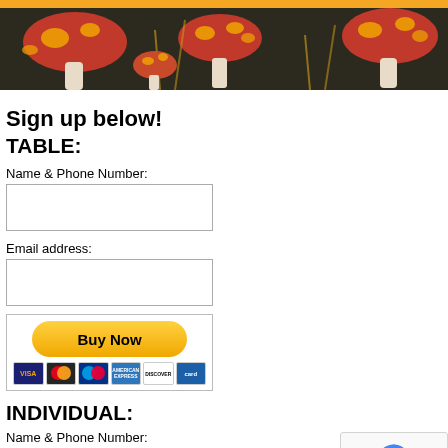[Figure (illustration): Header banner with mushroom illustration on dark brown background with orange top bar]
Sign up below!
TABLE:
Name & Phone Number:
Email address:
[Figure (other): PayPal Buy Now button with credit card icons including Visa, Mastercard, American Express, Discover]
INDIVIDUAL:
Name & Phone Number:
[Figure (other): reCAPTCHA widget with Privacy and Terms links]